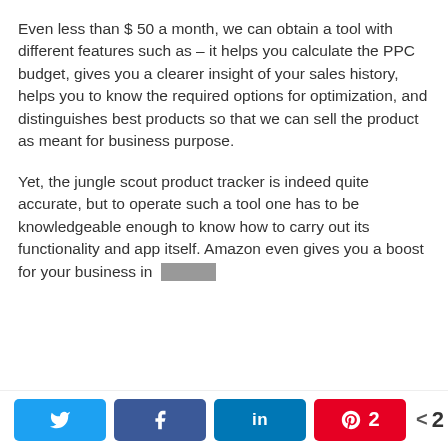Even less than $ 50 a month, we can obtain a tool with different features such as – it helps you calculate the PPC budget, gives you a clearer insight of your sales history, helps you to know the required options for optimization, and distinguishes best products so that we can sell the product as meant for business purpose.
Yet, the jungle scout product tracker is indeed quite accurate, but to operate such a tool one has to be knowledgeable enough to know how to carry out its functionality and app itself. Amazon even gives you a boost for your business in [redacted]
Share buttons: Twitter, Facebook, LinkedIn, Pinterest (2 shares), Total: 2 SHARES